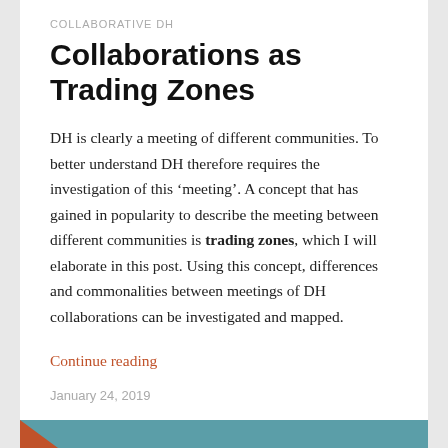COLLABORATIVE DH
Collaborations as Trading Zones
DH is clearly a meeting of different communities. To better understand DH therefore requires the investigation of this ‘meeting’. A concept that has gained in popularity to describe the meeting between different communities is trading zones, which I will elaborate in this post. Using this concept, differences and commonalities between meetings of DH collaborations can be investigated and mapped.
Continue reading
January 24, 2019